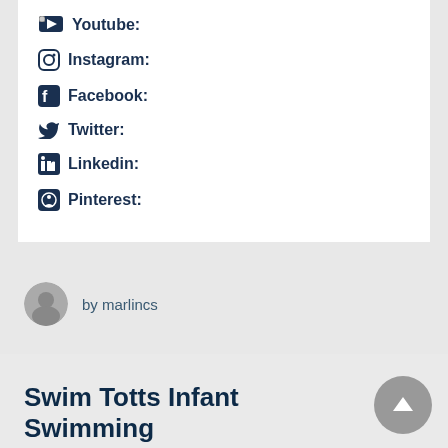Youtube:
Instagram:
Facebook:
Twitter:
Linkedin:
Pinterest:
by marlincs
Swim Totts Infant Swimming